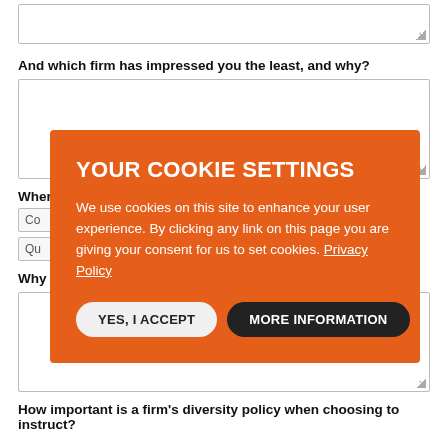[textarea stub top]
And which firm has impressed you the least, and why?
[textarea stub second]
Wher[...] ctor?
Co[...] select
Qu[...] select
Why [...]
[textarea stub bottom]
[Figure (screenshot): Cookie consent modal dialog with orange background. Title: 'YOUR COOKIE SETTINGS'. Body text: 'We use cookies on this site to enhance your user experience. By clicking any link on this page you are giving your consent for us to set cookies. Privacy Policy'. Two buttons: 'YES, I ACCEPT' (light) and 'MORE INFORMATION' (dark).]
How important is a firm's diversity policy when choosing to instruct?